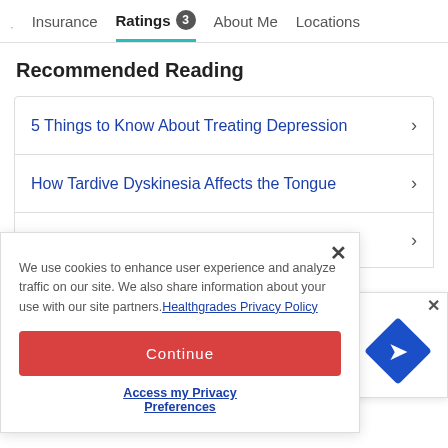Insurance | Ratings 3 | About Me | Locations
Recommended Reading
5 Things to Know About Treating Depression
How Tardive Dyskinesia Affects the Tongue
Depression and Low Sex Drive: New
We use cookies to enhance user experience and analyze traffic on our site. We also share information about your use with our site partners. Healthgrades Privacy Policy
Continue
Access my Privacy Preferences